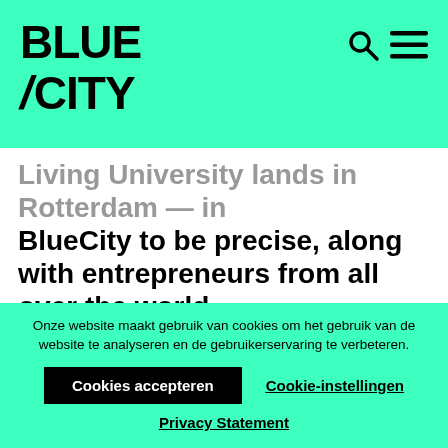[Figure (logo): BlueCity logo in black bold text with a slash/lightning bolt before CITY]
Living University lands in Rotterdam — in BlueCity to be precise, along with entrepreneurs from all over the world.
The Living University is a great way for the global network of radically sustainable entrepreneurs and do'ers within The Blue Economy. To share, talk, learn and do – and
Onze website maakt gebruik van cookies om het gebruik van de website te analyseren en de gebruikerservaring te verbeteren.
Cookies accepteren
Cookie-instellingen
Privacy Statement